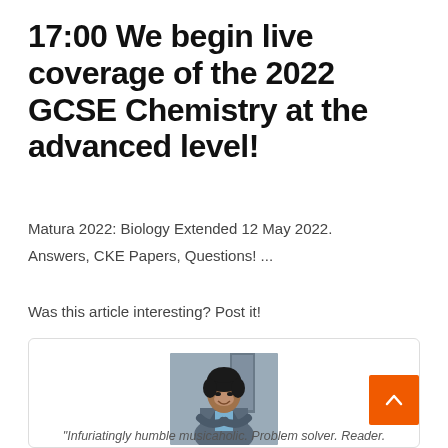17:00 We begin live coverage of the 2022 GCSE Chemistry at the advanced level!
Matura 2022: Biology Extended 12 May 2022. Answers, CKE Papers, Questions! ...
Was this article interesting? Post it!
[Figure (photo): Author profile photo of Echo Richards, a woman in a grey blazer with arms crossed, smiling]
Echo Richards
"Infuriatingly humble musicaholic. Problem solver. Reader.